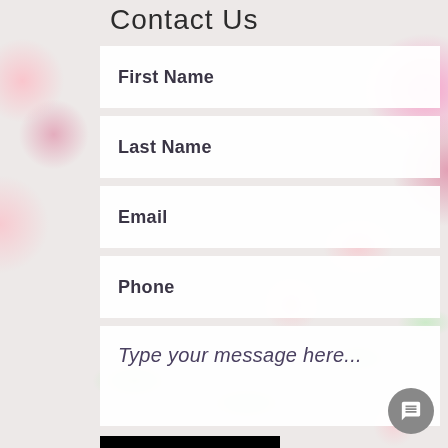Contact Us
First Name
Last Name
Email
Phone
Type your message here...
Send